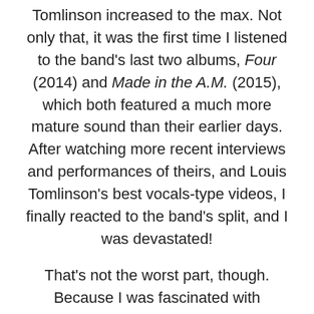Tomlinson increased to the max. Not only that, it was the first time I listened to the band's last two albums, Four (2014) and Made in the A.M. (2015), which both featured a much more mature sound than their earlier days. After watching more recent interviews and performances of theirs, and Louis Tomlinson's best vocals-type videos, I finally reacted to the band's split, and I was devastated!
That's not the worst part, though. Because I was fascinated with Tomlinson, I researched his past relationships. I knew he had a girlfriend and that I wasn't in the right mindset, but I pictured Tomlinson as the perfect guy who'd never be interested in a girl like me. In a way, I used Tomlinson to represent all the guys in the world. He liked these girls with certain body types, long gorgeous hair, and were tall, etc. I